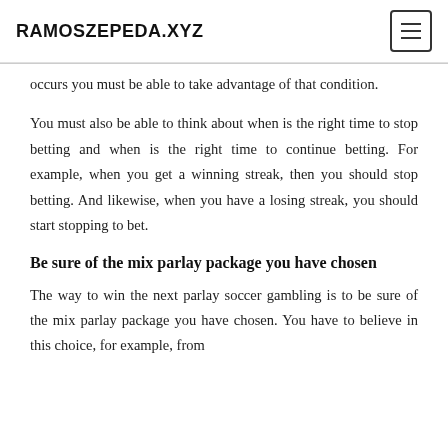RAMOSZEPEDA.XYZ
occurs you must be able to take advantage of that condition.
You must also be able to think about when is the right time to stop betting and when is the right time to continue betting. For example, when you get a winning streak, then you should stop betting. And likewise, when you have a losing streak, you should start stopping to bet.
Be sure of the mix parlay package you have chosen
The way to win the next parlay soccer gambling is to be sure of the mix parlay package you have chosen. You have to believe in this choice, for example, from